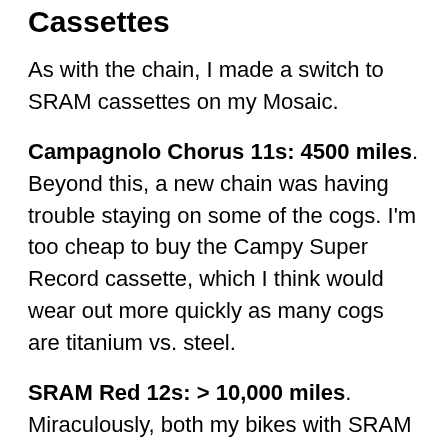Cassettes
As with the chain, I made a switch to SRAM cassettes on my Mosaic.
Campagnolo Chorus 11s: 4500 miles. Beyond this, a new chain was having trouble staying on some of the cogs. I'm too cheap to buy the Campy Super Record cassette, which I think would wear out more quickly as many cogs are titanium vs. steel.
SRAM Red 12s: > 10,000 miles. Miraculously, both my bikes with SRAM Red cassettes have not needed replacement. The road 10-28 has over 10k miles, and gravel bike has ~3800 miles.
Electronic Shifting